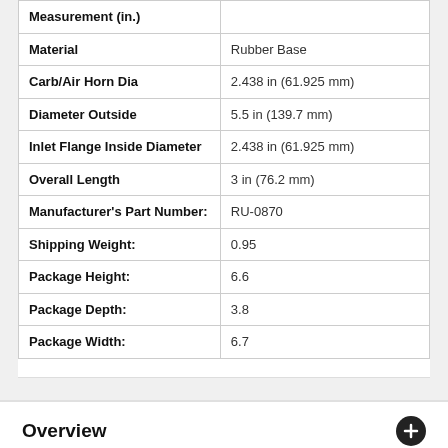| Measurement (in.) |  |
| --- | --- |
| Material | Rubber Base |
| Carb/Air Horn Dia | 2.438 in (61.925 mm) |
| Diameter Outside | 5.5 in (139.7 mm) |
| Inlet Flange Inside Diameter | 2.438 in (61.925 mm) |
| Overall Length | 3 in (76.2 mm) |
| Manufacturer's Part Number: | RU-0870 |
| Shipping Weight: | 0.95 |
| Package Height: | 6.6 |
| Package Depth: | 3.8 |
| Package Width: | 6.7 |
Overview